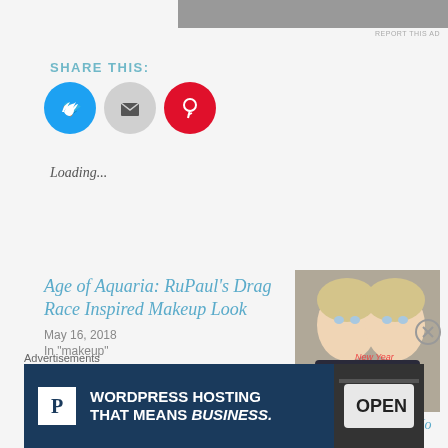[Figure (photo): Top advertisement banner, grey/dark image partially visible]
REPORT THIS AD
SHARE THIS:
[Figure (infographic): Three circular social share buttons: Twitter (blue), Email (grey), Pinterest (red)]
Loading...
Age of Aquaria: RuPaul's Drag Race Inspired Makeup Look
May 16, 2018
In "makeup"
[Figure (photo): Two blonde women taking a selfie, New Year themed]
A New Years Look in No Time
Advertisements
[Figure (infographic): WordPress Hosting advertisement banner: dark blue background with P logo, text WORDPRESS HOSTING THAT MEANS BUSINESS. and open sign image]